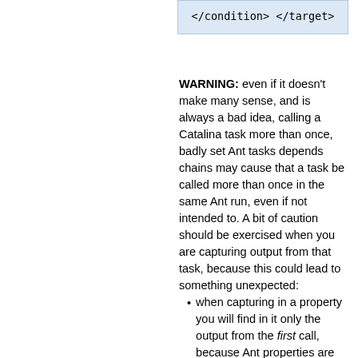[Figure (screenshot): Code snippet showing XML closing tags: </condition> and </target>]
WARNING: even if it doesn't make many sense, and is always a bad idea, calling a Catalina task more than once, badly set Ant tasks depends chains may cause that a task be called more than once in the same Ant run, even if not intended to. A bit of caution should be exercised when you are capturing output from that task, because this could lead to something unexpected:
when capturing in a property you will find in it only the output from the first call, because Ant properties are